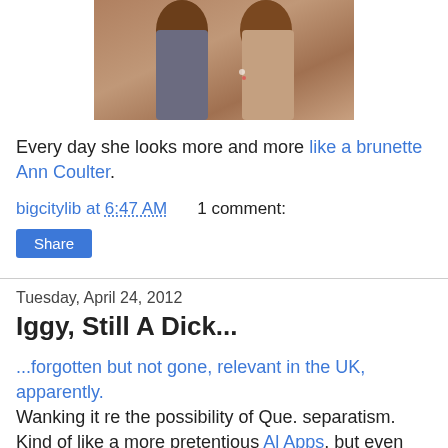[Figure (photo): Photo of two women with brown hair, one wearing a grey top, partial view cropped at top]
Every day she looks more and more like a brunette Ann Coulter.
bigcitylib at 6:47 AM    1 comment:
Share
Tuesday, April 24, 2012
Iggy, Still A Dick...
...forgotten but not gone, relevant in the UK, apparently. Wanking it re the possibility of Que. separatism.  Kind of like a more pretentious Al Apps, but even more embarrassing.